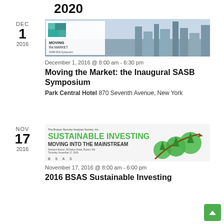2020
[Figure (photo): Moving the Market - SASB 2016 Symposium banner with New York City skyline]
December 1, 2016 @ 8:00 am - 6:30 pm
Moving the Market: the Inaugural SASB Symposium
Park Central Hotel 870 Seventh Avenue, New York
[Figure (photo): 2016 BSAS Sustainable Investing seminar banner - The Boston Security Analysts Society, Inc. Sustainable Investing Moving into the Mainstream]
November 17, 2016 @ 8:00 am - 6:00 pm
2016 BSAS Sustainable Investing Seminar